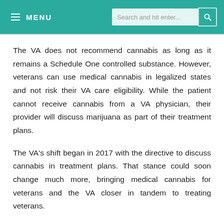≡ MENU   Search and hit enter...
The VA does not recommend cannabis as long as it remains a Schedule One controlled substance. However, veterans can use medical cannabis in legalized states and not risk their VA care eligibility. While the patient cannot receive cannabis from a VA physician, their provider will discuss marijuana as part of their treatment plans.
The VA's shift began in 2017 with the directive to discuss cannabis in treatment plans. That stance could soon change much more, bringing medical cannabis for veterans and the VA closer in tandem to treating veterans.
In April 2018, a bipartisan bill was introduced in the House of Representatives that would grant the VA the authority to research medical cannabis's ability to treat patients. Rep. Tim Walz, who introduced the bill with Rep. Phil Roe, noted in a press release that "22 percent of veterans report using cannabis as a safer and more effective alternative to opioids and drug cocktails currently